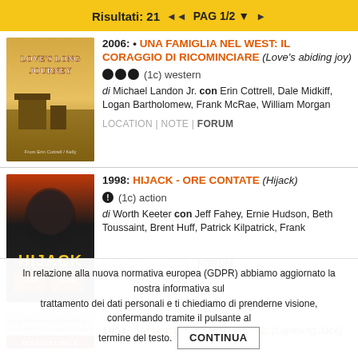Risultati: 21  PAG 1/2
2006: • UNA FAMIGLIA NEL WEST: IL CORAGGIO DI RICOMINCIARE (Love's abiding joy) ●●● (1c) western  di Michael Landon Jr. con Erin Cottrell, Dale Midkiff, Logan Bartholomew, Frank McRae, William Morgan  LOCATION | NOTE | FORUM
1998: HIJACK - ORE CONTATE (Hijack) ●! (1c) action  di Worth Keeter con Jeff Fahey, Ernie Hudson, Beth Toussaint, Brent Huff, Patrick Kilpatrick, Frank  LOCATION | NOTE | FORUM
1994: JACK COLPO DI FULMINE (Lightning Jack)
In relazione alla nuova normativa europea (GDPR) abbiamo aggiornato la nostra informativa sul trattamento dei dati personali e ti chiediamo di prenderne visione, confermando tramite il pulsante al termine del testo. CONTINUA